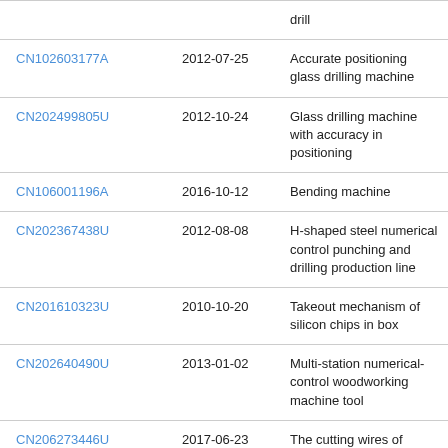| Patent ID | Date | Description |
| --- | --- | --- |
|  |  | drill |
| CN102603177A | 2012-07-25 | Accurate positioning glass drilling machine |
| CN202499805U | 2012-10-24 | Glass drilling machine with accuracy in positioning |
| CN106001196A | 2016-10-12 | Bending machine |
| CN202367438U | 2012-08-08 | H-shaped steel numerical control punching and drilling production line |
| CN201610323U | 2010-10-20 | Takeout mechanism of silicon chips in box |
| CN202640490U | 2013-01-02 | Multi-station numerical-control woodworking machine tool |
| CN206273446U | 2017-06-23 | The cutting wires of compact conformation |
| CN206374437U | 2017-08-04 | The integrated automatic carving machine processed for sheet |